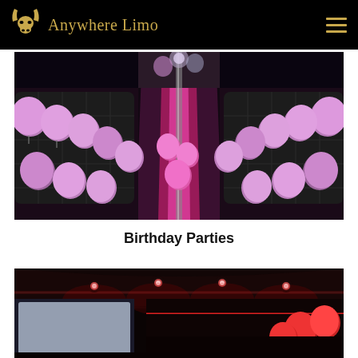Anywhere Limo
[Figure (photo): Interior of a limousine decorated with purple/pink balloons on black leather seats, with pink LED lighting on the floor, mirrored ceiling, symmetrical perspective shot]
Birthday Parties
[Figure (photo): Interior of a limousine or party bus with red LED accent lighting on the ceiling, showing windows and red/pink balloons]